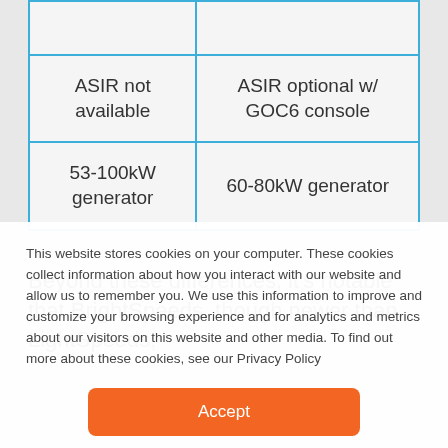|  |  |
| ASIR not available | ASIR optional w/ GOC6 console |
| 53-100kW generator | 60-80kW generator |
Beyond these differences, it's notable that BrightSpeeds, though newer than LightSpeeds,
This website stores cookies on your computer. These cookies collect information about how you interact with our website and allow us to remember you. We use this information to improve and customize your browsing experience and for analytics and metrics about our visitors on this website and other media. To find out more about these cookies, see our Privacy Policy